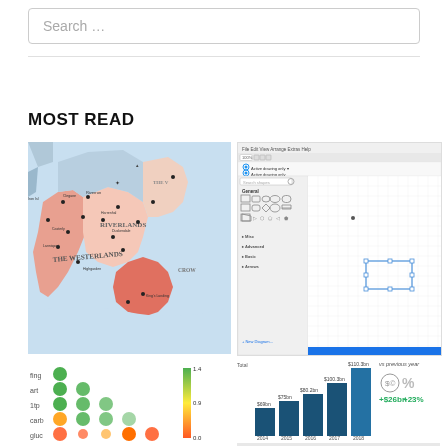Search …
MOST READ
[Figure (map): Fantasy map showing regions: The Westerlands, Riverlands, The Vale, Crowlands, with location markers]
[Figure (screenshot): Screenshot of a diagramming software (draw.io/Lucidchart style) showing shape panels and a canvas with a rectangle]
[Figure (scatter-plot): Dot matrix/bubble chart with colored circles in rows and columns, with a color scale legend on the right]
[Figure (bar-chart): Vertical bar chart showing revenue data from 2014-2018, with annotations showing +$26bn and +23%, and +50.1bn and +25%]